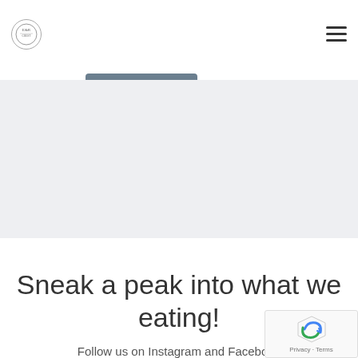[Figure (logo): Circular logo with crest/emblem in the top left of the header]
[Figure (other): Hamburger menu icon (three horizontal lines) in the top right]
BOOK NOW
[Figure (photo): Large light grey image/banner area]
Sneak a peak into what we eating!
Follow us on Instagram and Facebook